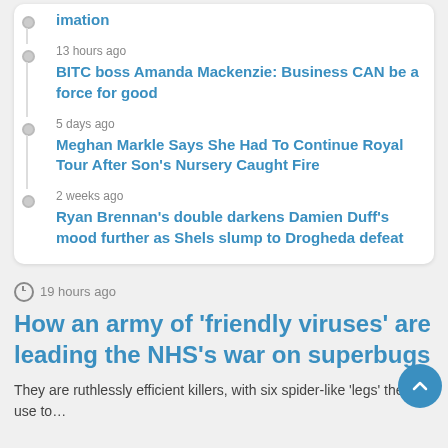13 hours ago — BITC boss Amanda Mackenzie: Business CAN be a force for good
5 days ago — Meghan Markle Says She Had To Continue Royal Tour After Son's Nursery Caught Fire
2 weeks ago — Ryan Brennan's double darkens Damien Duff's mood further as Shels slump to Drogheda defeat
19 hours ago
How an army of ‘friendly viruses’ are leading the NHS’s war on superbugs
They are ruthlessly efficient killers, with six spider-like ‘legs’ they use to…